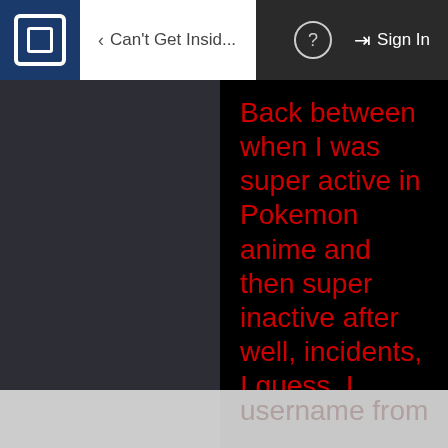Can't Get Insid...   Sign In
Back between when I was super active in Pokemon anime and then super inactive after well, incidents, I guess, I changed my username from